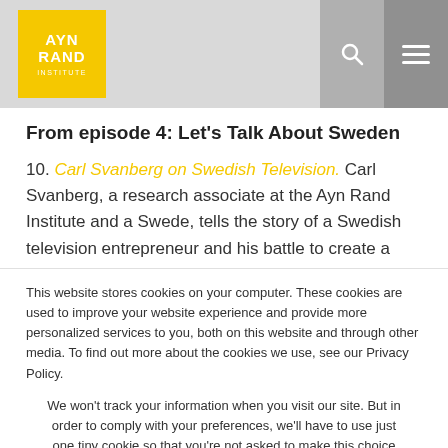AYN RAND INSTITUTE
From episode 4: Let’s Talk About Sweden
10. Carl Svanberg on Swedish Television. Carl Svanberg, a research associate at the Ayn Rand Institute and a Swede, tells the story of a Swedish television entrepreneur and his battle to create a television channel outside of government control.
This website stores cookies on your computer. These cookies are used to improve your website experience and provide more personalized services to you, both on this website and through other media. To find out more about the cookies we use, see our Privacy Policy.
We won’t track your information when you visit our site. But in order to comply with your preferences, we’ll have to use just one tiny cookie so that you’re not asked to make this choice again.